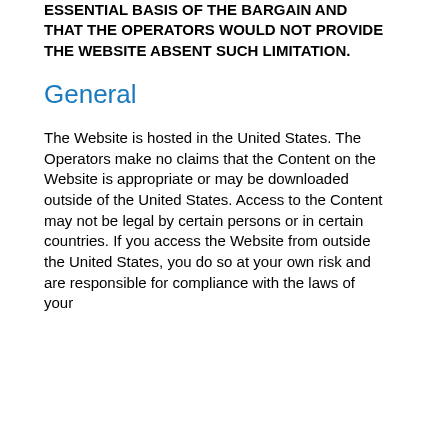ESSENTIAL BASIS OF THE BARGAIN AND THAT THE OPERATORS WOULD NOT PROVIDE THE WEBSITE ABSENT SUCH LIMITATION.
General
The Website is hosted in the United States. The Operators make no claims that the Content on the Website is appropriate or may be downloaded outside of the United States. Access to the Content may not be legal by certain persons or in certain countries. If you access the Website from outside the United States, you do so at your own risk and are responsible for compliance with the laws of your